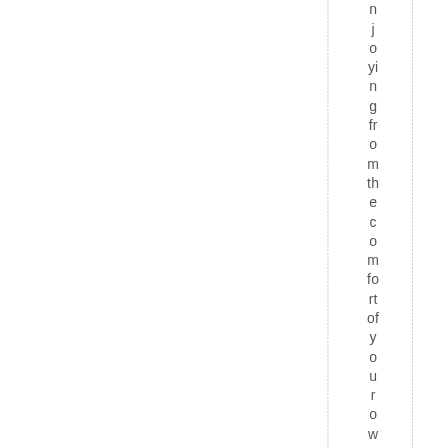njoying from the comfort of your own hom